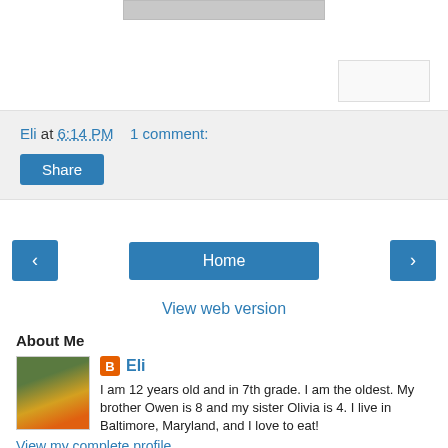[Figure (photo): Partial photo at top of page (cropped)]
[Figure (other): Small white/grey ad box on right side]
Eli at 6:14 PM    1 comment:
Share
‹
Home
›
View web version
About Me
[Figure (photo): Profile photo of a boy in a green, yellow and orange striped shirt]
Eli
I am 12 years old and in 7th grade. I am the oldest. My brother Owen is 8 and my sister Olivia is 4. I live in Baltimore, Maryland, and I love to eat!
View my complete profile